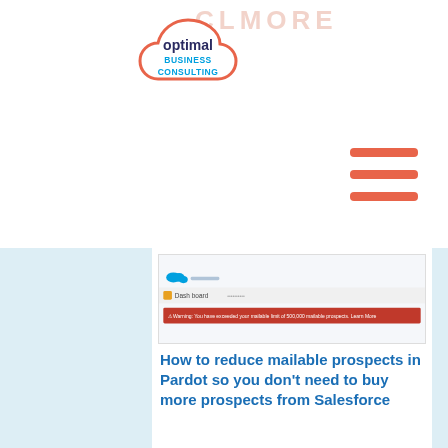CLMORE
[Figure (logo): Optimal Business Consulting logo - cloud shape outline in coral/red with 'optimal BUSINESS CONSULTING' text inside]
[Figure (illustration): Hamburger menu icon with three coral/red horizontal lines]
[Figure (screenshot): Salesforce/Pardot dashboard screenshot showing a warning alert message]
How to reduce mailable prospects in Pardot so you don't need to buy more prospects from Salesforce
BLOG , ICP , LEAD QUALIFICATION ,
LIFECYCLE STAGES ,
MQL QUALIFICATION PROCESS ,
PARDOT (MCAE) , SEGMENTATION LISTS
How to reduce